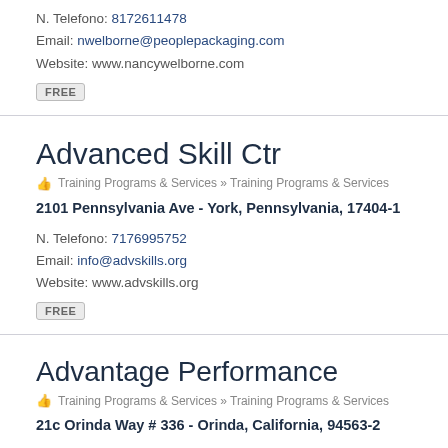N. Telefono: 8172611478
Email: nwelborne@peoplepackaging.com
Website: www.nancywelborne.com
FREE
Advanced Skill Ctr
Training Programs & Services » Training Programs & Services
2101 Pennsylvania Ave - York, Pennsylvania, 17404-1
N. Telefono: 7176995752
Email: info@advskills.org
Website: www.advskills.org
FREE
Advantage Performance
Training Programs & Services » Training Programs & Services
21c Orinda Way # 336 - Orinda, California, 94563-2